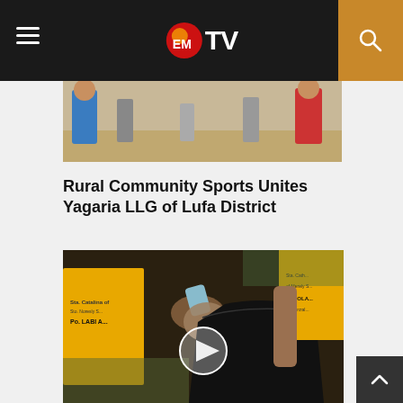EMTV
[Figure (photo): Sports event on a dirt field with people in blue and red/white jerseys]
Rural Community Sports Unites Yagaria LLG of Lufa District
[Figure (photo): People in yellow shirts picking up trash and putting it into a black garbage bag, with a video play button overlay]